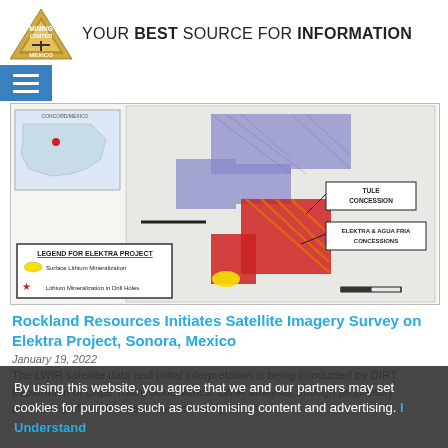YOUR BEST SOURCE FOR INFORMATION
[Figure (map): Map showing the Elektra Project mining concessions in Sonora, Mexico. Includes a legend for the Elektra Project showing Surface Lithium Mineralization (yellow ellipse) and Lithium Mineralization in Drill Holes (red star). Map shows TULE CONCESSION and ELEKTRA & AGUA FRIA CONCESSIONS marked in red and blue areas.]
Rockland Resources Initiates Satellite Imagery Survey on Elektra Project, Sonora, Mexico
January 19, 2022
The LWIR satellite data and initial interpretation is being conducted by DIRT Exploration of Cape Town, South Africa. LWIR analysis, through proprietary processing of satellite data, has the ability to
By using this website, you agree that we and our partners may set cookies for purposes such as customising content and advertising. I Understand